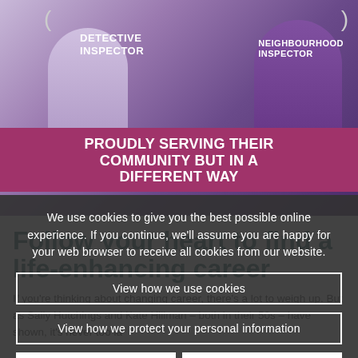[Figure (photo): Promotional photo showing two women police officers — one labelled DETECTIVE INSPECTOR on the left, one labelled NEIGHBOURHOOD INSPECTOR on the right — with a pink banner reading PROUDLY SERVING THEIR COMMUNITY BUT IN A DIFFERENT WAY]
We use cookies to give you the best possible online experience. If you continue, we'll assume you are happy for your web browser to receive all cookies from our website.
View how we use cookies
View how we protect your personal information
Accept cookies
Proceed without cookies
Follow your heart to find a life-enhancing career
If you're thinking about changing career, there's a lot to weigh up. But as Sally Hutchings and Kate Hillman – both in their 50s – have shown, it's never too la